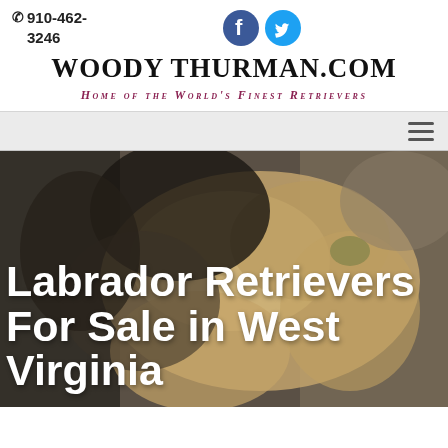910-462-3246
WOODY THURMAN.COM
Home of the World's Finest Retrievers
[Figure (photo): Hero photo of Labrador Retriever puppies, golden/yellow colored, viewed close up from above, warm earthy tones, dark background]
Labrador Retrievers For Sale in West Virginia